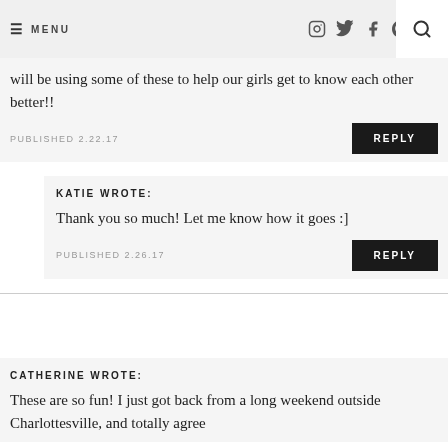≡ MENU  [social icons: Instagram, Twitter, Facebook, Pinterest, Email]  [Search]
will be using some of these to help our girls get to know each other better!!
PUBLISHED 2.22.17
REPLY
KATIE WROTE:
Thank you so much! Let me know how it goes :]
PUBLISHED 2.26.17
REPLY
CATHERINE WROTE:
These are so fun! I just got back from a long weekend outside Charlottesville, and totally agree